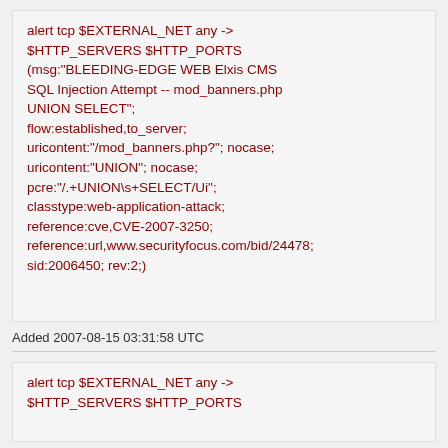alert tcp $EXTERNAL_NET any -> $HTTP_SERVERS $HTTP_PORTS (msg:"BLEEDING-EDGE WEB Elxis CMS SQL Injection Attempt -- mod_banners.php UNION SELECT"; flow:established,to_server; uricontent:"/mod_banners.php?"; nocase; uricontent:"UNION"; nocase; pcre:"/.+UNION\s+SELECT/Ui"; classtype:web-application-attack; reference:cve,CVE-2007-3250; reference:url,www.securityfocus.com/bid/24478; sid:2006450; rev:2;)
Added 2007-08-15 03:31:58 UTC
alert tcp $EXTERNAL_NET any -> $HTTP_SERVERS $HTTP_PORTS